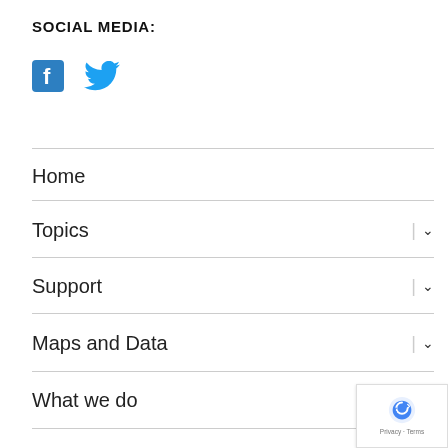SOCIAL MEDIA:
[Figure (illustration): Facebook and Twitter social media icons displayed side by side in blue]
Home
Topics
Support
Maps and Data
What we do